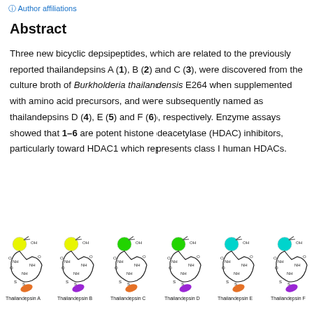Author affiliations
Abstract
Three new bicyclic depsipeptides, which are related to the previously reported thailandepsins A (1), B (2) and C (3), were discovered from the culture broth of Burkholderia thailandensis E264 when supplemented with amino acid precursors, and were subsequently named as thailandepsins D (4), E (5) and F (6), respectively. Enzyme assays showed that 1–6 are potent histone deacetylase (HDAC) inhibitors, particularly toward HDAC1 which represents class I human HDACs.
[Figure (illustration): Chemical structures of Thailandepsin A, B, C, D, E, and F shown as bicyclic depsipeptide diagrams with colored substituents (yellow, yellow-green, green, green, cyan, cyan balls).]